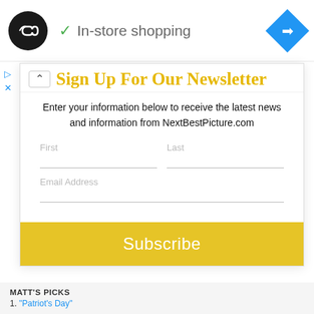[Figure (logo): Black circle logo with double arrow/infinity symbol inside, and blue diamond navigation icon on the right]
✓  In-store shopping
Sign Up For Our Newsletter
Enter your information below to receive the latest news and information from NextBestPicture.com
First   Last
Email Address
Subscribe
MATT'S PICKS
1. "Patriot's Day"